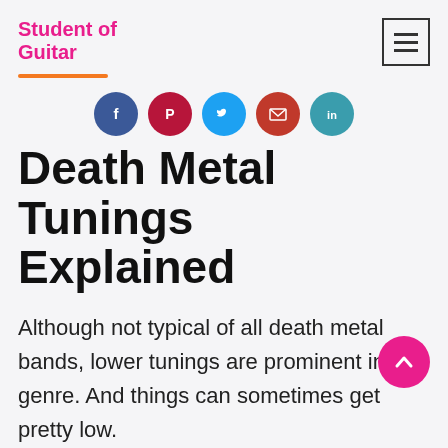Student of Guitar
[Figure (infographic): Row of 5 social sharing icon buttons: Facebook (dark blue circle), Pinterest (dark red circle), Twitter (light blue circle), Email (orange-red circle), LinkedIn (teal circle)]
Death Metal Tunings Explained
Although not typical of all death metal bands, lower tunings are prominent in this genre. And things can sometimes get pretty low.
Is There Such a Thing as Death Metal Tuning?